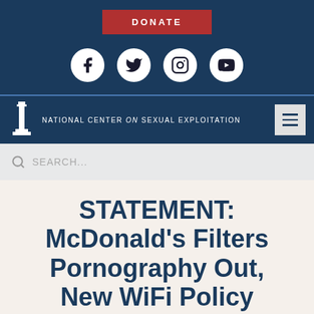[Figure (other): Red DONATE button on navy background]
[Figure (other): Social media icons: Facebook, Twitter, Instagram, YouTube on navy background]
[Figure (logo): National Center on Sexual Exploitation logo with column icon and organization name, hamburger menu icon]
[Figure (other): Search bar with magnifying glass icon and SEARCH... placeholder text]
STATEMENT: McDonald's Filters Pornography Out, New WiFi Policy